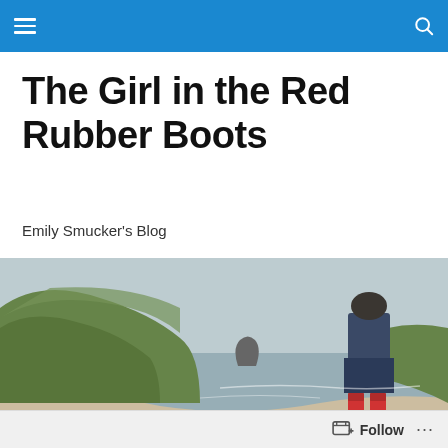Navigation header bar
The Girl in the Red Rubber Boots
Emily Smucker's Blog
[Figure (photo): A person standing on a coastal cliff wearing red rubber boots, dark jeans, and a dark jacket, overlooking a sandy beach with a large haystack rock and misty green hillsides in the background.]
Blogmas 2019 Day 10: What To
Follow